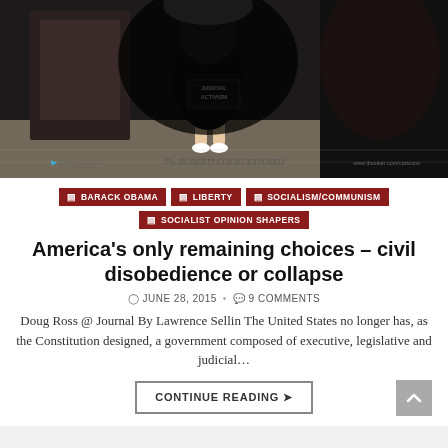[Figure (illustration): Political cartoon showing a figure labeled 'Judicial Activism' with text 'The Roberts Court Exposed' at the bottom, with Twitter handle @Ramirezloons and website www.ibstoker.com/cartoons]
BARACK OBAMA
LIBERTY
SOCIALISM/COMMUNISM
SOCIALIST OPINION SHAPERS
America’s only remaining choices – civil disobedience or collapse
JUNE 28, 2015 • 9 COMMENTS
Doug Ross @ Journal By Lawrence Sellin The United States no longer has, as the Constitution designed, a government composed of executive, legislative and judicial…